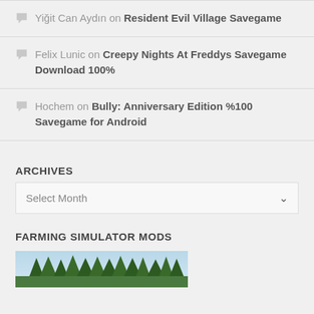Yiğit Can Aydın on Resident Evil Village Savegame
Felix Lunic on Creepy Nights At Freddys Savegame Download 100%
Hochem on Bully: Anniversary Edition %100 Savegame for Android
ARCHIVES
Select Month
FARMING SIMULATOR MODS
[Figure (photo): Forest/trees photo thumbnail for Farming Simulator Mods section]